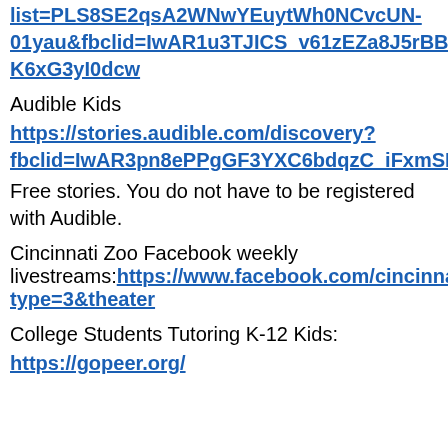list=PLS8SE2qsA2WNwYEuytWh0NCvcUN-01yau&fbclid=IwAR1u3TJICS_v61zEZa8J5rBBW7ZpkMPh21UY7yCIow5a_q4-K6xG3yI0dcw
Audible Kids
https://stories.audible.com/discovery?fbclid=IwAR3pn8ePPgGF3YXC6bdqzC_iFxmSP7FQIOM_ss8yqwrrBseNc6nS2KQkmSw
Free stories. You do not have to be registered with Audible.
Cincinnati Zoo Facebook weekly livestreams:https://www.facebook.com/cincinnatizoo/photos/a.96076385478/10158043842200479/?type=3&theater
College Students Tutoring K-12 Kids: https://gopeer.org/